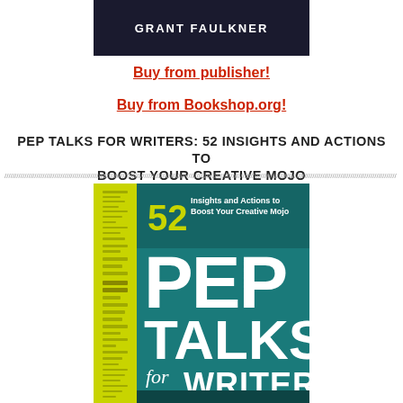[Figure (photo): Dark navy/black banner image with 'GRANT FAULKNER' text in white bold uppercase letters]
Buy from publisher!
Buy from Bookshop.org!
PEP TALKS FOR WRITERS: 52 INSIGHTS AND ACTIONS TO BOOST YOUR CREATIVE MOJO
[Figure (photo): Book cover of 'Pep Talks for Writers' by Grant Faulkner. Teal/dark background with large bold white text reading 'PEP TALKS for WRITERS'. Yellow-green spine on left side. Top reads '52 Insights and Actions to Boost Your Creative Mojo'.]